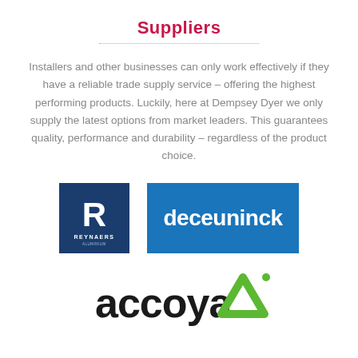Suppliers
Installers and other businesses can only work effectively if they have a reliable trade supply service – offering the highest performing products. Luckily, here at Dempsey Dyer we only supply the latest options from market leaders. This guarantees quality, performance and durability – regardless of the product choice.
[Figure (logo): Reynaers Aluminium logo — white stylized R on dark navy blue square background with 'REYNAERS' text below]
[Figure (logo): Deceuninck logo — white lowercase 'deceuninck' text on blue rectangle background]
[Figure (logo): Accoya logo — black lowercase 'accoya' text with green triangle/delta symbol with registered trademark symbol]